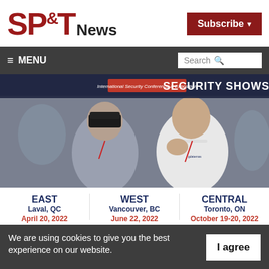[Figure (logo): SP&T News logo in dark red with bold letters, and a Subscribe button in dark red on the right]
≡ MENU   Search 🔍
[Figure (photo): Photo of two men at a security conference, one wearing a VR headset, the other gesturing with his hands. Overlay text at top reads 'International Security Conference & Exposition' and 'SECURITY SHOWS']
EAST
Laval, QC
April 20, 2022
WEST
Vancouver, BC
June 22, 2022
CENTRAL
Toronto, ON
October 19-20, 2022
We are using cookies to give you the best experience on our website.
By continuing to use the site, you agree to the use of cookies.
To find out more, read our privacy policy.